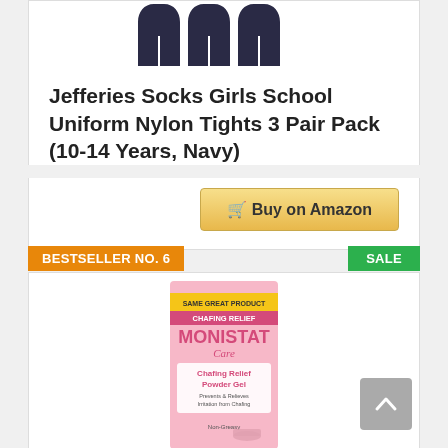[Figure (photo): Jefferies Socks Girls School Uniform Nylon Tights in Navy, showing three pairs of navy tights from above]
Jefferies Socks Girls School Uniform Nylon Tights 3 Pair Pack (10-14 Years, Navy)
Buy on Amazon
BESTSELLER NO. 6
SALE
[Figure (photo): Monistat Care Chafing Relief Powder Gel product box - pink packaging with white and pink label showing 'Same Great Product', 'Chafing Relief', 'MONISTAT Care', 'Chafing Relief Powder Gel', 'Prevents & Relieves Irritation from Chafing', 'Non-Greasy']